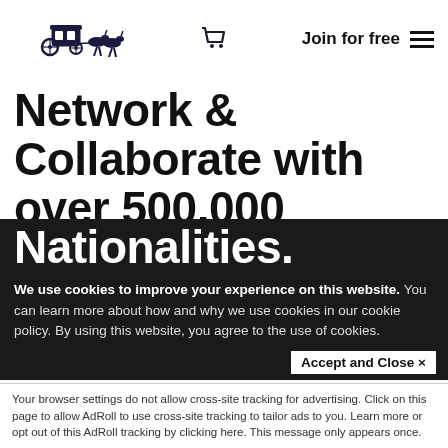[Figure (logo): Carriage with horses logo (dark navy illustration)]
Join for free  ☰
Network & Collaborate with over 500,000 International Students from over 180 Nationalities.
We use cookies to improve your experience on this website. You can learn more about how and why we use cookies in our cookie policy. By using this website, you agree to the use of cookies.
Accept and Close ✕
Your browser settings do not allow cross-site tracking for advertising. Click on this page to allow AdRoll to use cross-site tracking to tailor ads to you. Learn more or opt out of this AdRoll tracking by clicking here. This message only appears once.